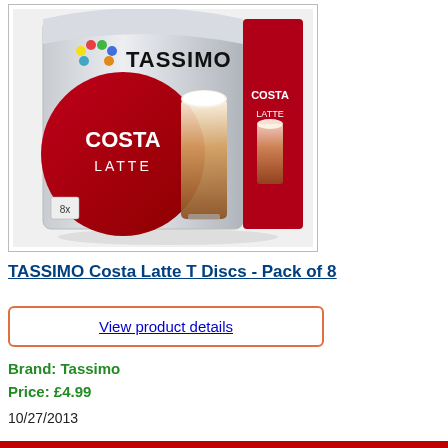[Figure (photo): Product photo of TASSIMO Costa Latte T Discs box — white box with red circle showing COSTA LATTE branding, a tall latte glass with foam, and TASSIMO logo at top. 8x marked on box.]
TASSIMO Costa Latte T Discs - Pack of 8
View product details
Brand: Tassimo
Price: £4.99
10/27/2013